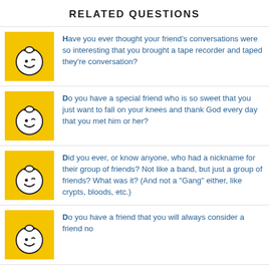RELATED QUESTIONS
Have you ever thought your friend's conversations were so interesting that you brought a tape recorder and taped they're conversation?
Do you have a special friend who is so sweet that you just want to fall on your knees and thank God every day that you met him or her?
Did you ever, or know anyone, who had a nickname for their group of friends? Not like a band, but just a group of friends? What was it? (And not a "Gang" either, like crypts, bloods, etc.)
Do you have a friend that you will always consider a friend no